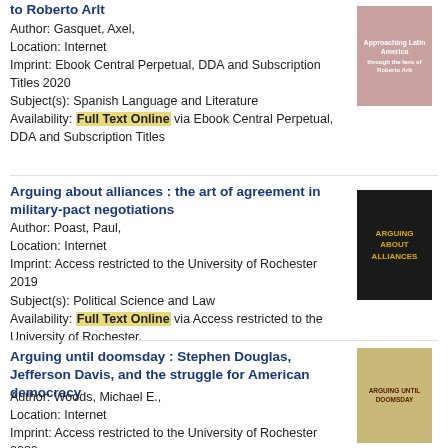to Roberto Arlt
Author: Gasquet, Axel,
Location: Internet
Imprint: Ebook Central Perpetual, DDA and Subscription Titles 2020
Subject(s): Spanish Language and Literature
Availability: Full Text Online via Ebook Central Perpetual, DDA and Subscription Titles
[Figure (photo): Book cover thumbnail - pink/red cover]
Arguing about alliances : the art of agreement in military-pact negotiations
Author: Poast, Paul,
Location: Internet
Imprint: Access restricted to the University of Rochester 2019
Subject(s): Political Science and Law
Availability: Full Text Online via Access restricted to the University of Rochester.
[Figure (photo): Book cover thumbnail - dark cover with ARGUING ABOUT ALLIANCES text]
Arguing until doomsday : Stephen Douglas, Jefferson Davis, and the struggle for American democracy
Author: Woods, Michael E.,
Location: Internet
Imprint: Access restricted to the University of Rochester 2020
Subject(s): Political Science and Law
Availability: Full Text Online via Access restricted to the University of Rochester.
[Figure (photo): Book cover thumbnail - illustrated cover for Arguing Until Doomsday]
Arguing Using Critical Thinking
Author: ...